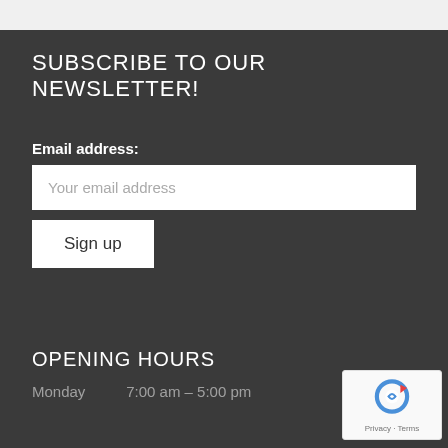SUBSCRIBE TO OUR NEWSLETTER!
Email address:
Your email address
Sign up
OPENING HOURS
Monday    7:00 am – 5:00 pm
[Figure (logo): Google reCAPTCHA badge with circular arrow icon and Privacy - Terms text]